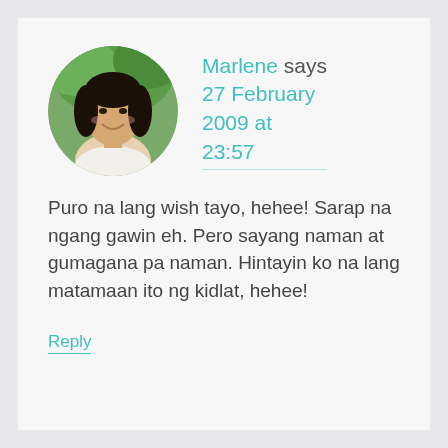[Figure (photo): Circular avatar photo of Marlene, a woman with dark hair, smiling, in an outdoor setting]
Marlene says
27 February 2009 at 23:57
Puro na lang wish tayo, hehee! Sarap na ngang gawin eh. Pero sayang naman at gumagana pa naman. Hintayin ko na lang matamaan ito ng kidlat, hehee!
Reply